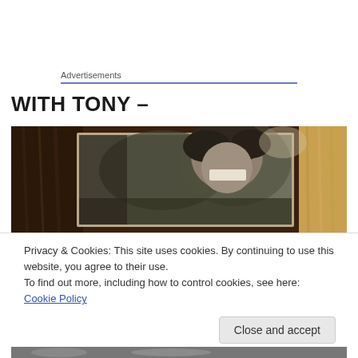Advertisements
WITH TONY –
[Figure (photo): Old black and white photograph of a person with dark hair, placed on a wooden surface. The photo appears aged and worn.]
Privacy & Cookies: This site uses cookies. By continuing to use this website, you agree to their use.
To find out more, including how to control cookies, see here: Cookie Policy
Close and accept